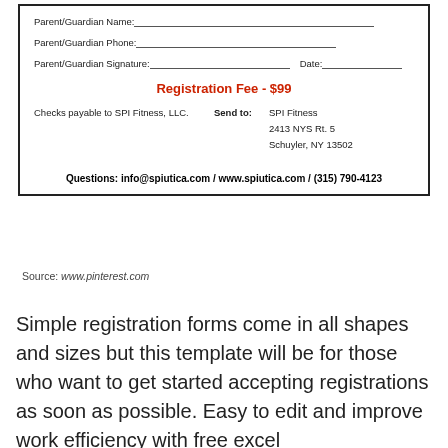[Figure (other): Registration form section showing fields for Parent/Guardian Name, Phone, Signature and Date, a Registration Fee of $99 in red, payment instructions to SPI Fitness LLC with address, and a contact questions line.]
Source: www.pinterest.com
Simple registration forms come in all shapes and sizes but this template will be for those who want to get started accepting registrations as soon as possible. Easy to edit and improve work efficiency with free excel